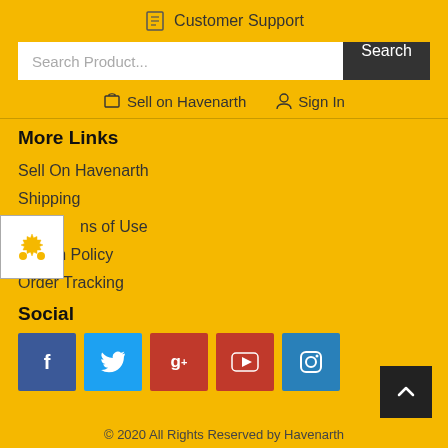Customer Support
Search Product...
Sell on Havenarth   Sign In
More Links
Sell On Havenarth
Shipping
ns of Use
Return Policy
Order Tracking
Social
[Figure (infographic): Social media icon buttons: Facebook (blue), Twitter (light blue), Google+ (red), YouTube (red), Instagram (blue)]
© 2020 All Rights Reserved by Havenarth